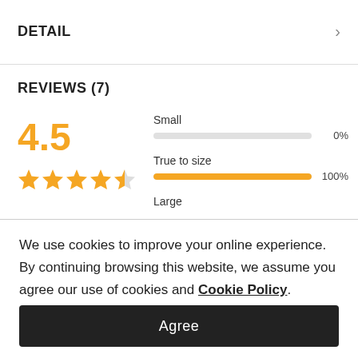DETAIL
REVIEWS (7)
[Figure (infographic): Rating 4.5 with 4.5 stars out of 5, and size fit bars: Small 0%, True to size 100%, Large (partially visible)]
We use cookies to improve your online experience. By continuing browsing this website, we assume you agree our use of cookies and Cookie Policy.
Agree